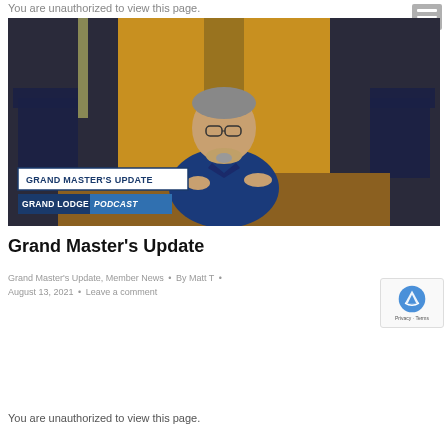You are unauthorized to view this page.
[Figure (photo): Man in blue shirt sitting at a desk in a formal hall-like setting, with overlaid text banners reading 'GRAND MASTER'S UPDATE' and 'GRAND LODGE PODCAST']
Grand Master's Update
Grand Master's Update, Member News • By Matt T • August 13, 2021 • Leave a comment
You are unauthorized to view this page.